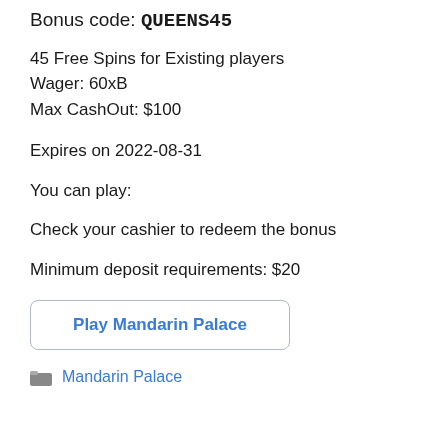Bonus code: QUEENS45
45 Free Spins for Existing players
Wager: 60xB
Max CashOut: $100
Expires on 2022-08-31
You can play:
Check your cashier to redeem the bonus
Minimum deposit requirements: $20
Play Mandarin Palace
Mandarin Palace